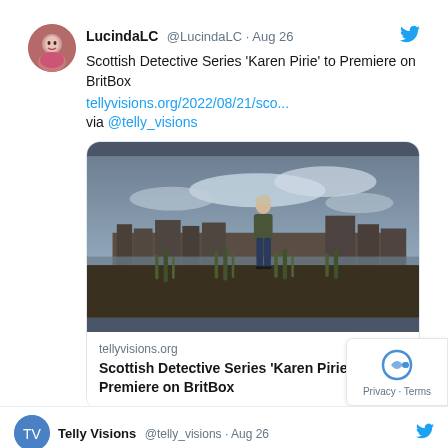LucindaLC @LucindaLC · Aug 26
Scottish Detective Series 'Karen Pirie' to Premiere on BritBox
tellyvisions.org/2022/08/21/sco... via @telly_visions
[Figure (photo): A woman standing in a field of tall grass with a Scottish town and cloudy sky in the background. Scottish landscape promotional image for Karen Pirie TV series.]
tellyvisions.org
Scottish Detective Series 'Karen Pirie' to Premiere on BritBox
1 like
Telly Visions @telly_visions · Aug 26